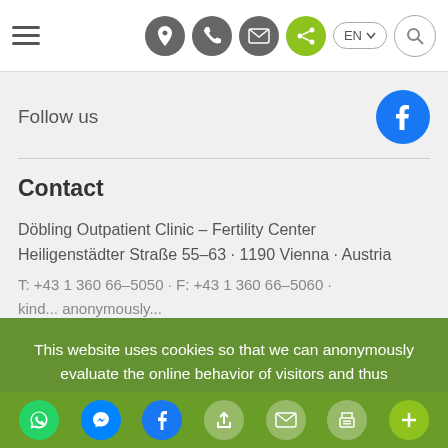Navigation bar with hamburger menu, location, phone, email, share icons, EN language selector, and search
Follow us
[Figure (logo): Facebook logo circle blue]
Contact
Döbling Outpatient Clinic – Fertility Center Heiligenstädter Straße 55–63 · 1190 Vienna · Austria
T: +43 1 360 66–5050 · F +43 1 360 66–5060 · kinde... anonymously...
This website uses cookies so that we can anonymously evaluate the online behavior of visitors and thus continuously improve the information we offer. For more information please see our Data Protection Statement.
OK
Share icons row: WhatsApp, Messenger, Facebook, Share, Email, Print, More